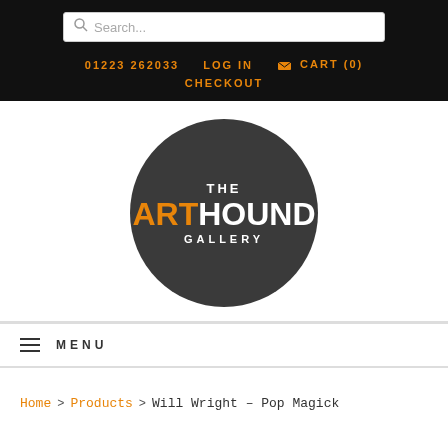01223 262033   LOG IN   CART (0)   CHECKOUT
[Figure (logo): The Arthound Gallery logo — dark circular badge with 'THE' in white, 'ART' in orange and 'HOUND' in white large text, 'GALLERY' in white below]
≡ MENU
Home > Products > Will Wright - Pop Magick